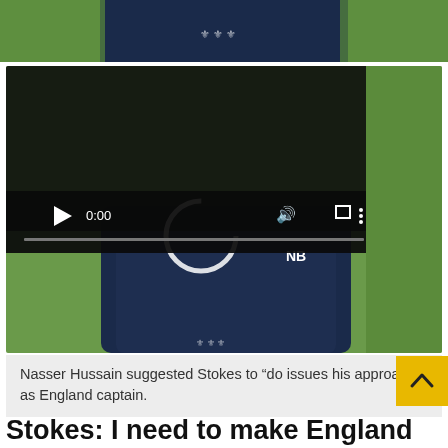[Figure (photo): Partial photo of a person wearing a dark navy England cricket training top with New Balance logo, green field background — top portion cropped]
[Figure (screenshot): Video player screenshot showing a dark controls overlay at 0:00 with play button, volume icon, fullscreen icon, and more options icon, with a loading spinner circle visible over the photo of a cricketer in navy England top]
Nasser Hussain suggested Stokes to “do issues his approach” as England captain.
Nasser Hussain suggested Stokes to “do issues his approach” as England captain.
Stokes: I need to make England